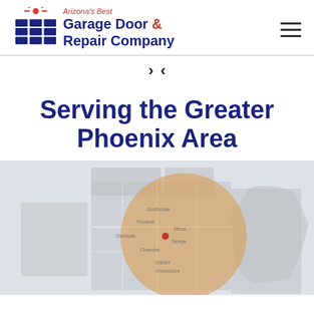[Figure (logo): Arizona's Best Garage Door & Repair Company logo with stylized garage door icon and company name]
Serving the Greater Phoenix Area
[Figure (map): Map of the Greater Phoenix Area, Arizona, with an orange circular highlight over the Phoenix metro region]